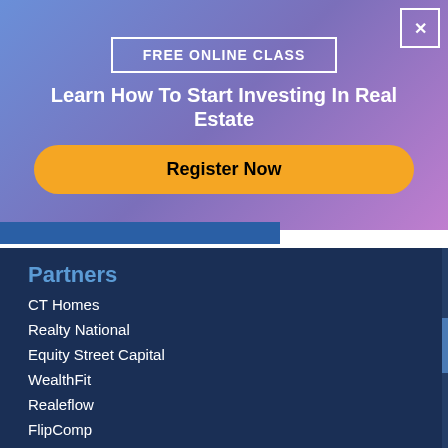[Figure (infographic): Banner advertisement for a free online real estate investing class with gradient background (blue to purple), a bordered label 'FREE ONLINE CLASS', headline 'Learn How To Start Investing In Real Estate', a yellow 'Register Now' button, and a close (X) button in top-right corner.]
Partners
CT Homes
Realty National
Equity Street Capital
WealthFit
Realeflow
FlipComp
Resources
Mastery
Coach Biographies
Privacy Policy